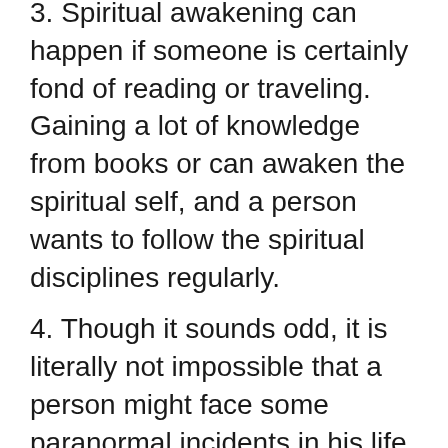3. Spiritual awakening can happen if someone is certainly fond of reading or traveling. Gaining a lot of knowledge from books or can awaken the spiritual self, and a person wants to follow the spiritual disciplines regularly.
4. Though it sounds odd, it is literally not impossible that a person might face some paranormal incidents in his life which might possibly be magical or ghostly. Such type of experience may likely result in the spiritual awakening of a person.
5. Any incident which is undoubtedly unexpected might just take place at any time, an accident, death incident, trauma, failure, loss, etc. These might just suddenly